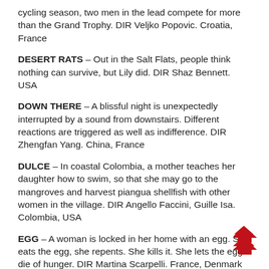cycling season, two men in the lead compete for more than the Grand Trophy. DIR Veljko Popovic. Croatia, France
DESERT RATS – Out in the Salt Flats, people think nothing can survive, but Lily did. DIR Shaz Bennett. USA
DOWN THERE – A blissful night is unexpectedly interrupted by a sound from downstairs. Different reactions are triggered as well as indifference. DIR Zhengfan Yang. China, France
DULCE – In coastal Colombia, a mother teaches her daughter how to swim, so that she may go to the mangroves and harvest piangua shellfish with other women in the village. DIR Angello Faccini, Guille Isa. Colombia, USA
EGG – A woman is locked in her home with an egg. She eats the egg, she repents. She kills it. She lets the egg die of hunger. DIR Martina Scarpelli. France, Denmark
FAUVE – Set in a surface mine, two boys sink into a seemingly innocent power game with Mother Nature as the